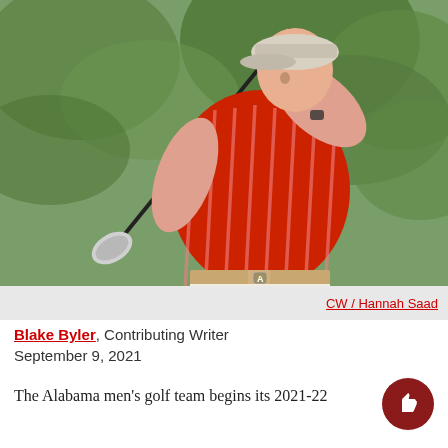[Figure (photo): A young male golfer wearing a red and white striped polo shirt and a light grey cap, mid-swing follow-through with a driver. Green foliage in background.]
CW / Hannah Saad
Blake Byler, Contributing Writer
September 9, 2021
The Alabama men's golf team begins its 2021-22 season this weekend at the Meridi Jim Intercollegiate...